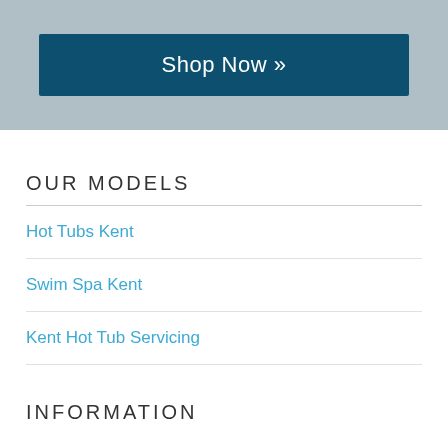[Figure (other): Dark teal 'Shop Now »' button on a grey-blue banner background]
OUR MODELS
Hot Tubs Kent
Swim Spa Kent
Kent Hot Tub Servicing
INFORMATION